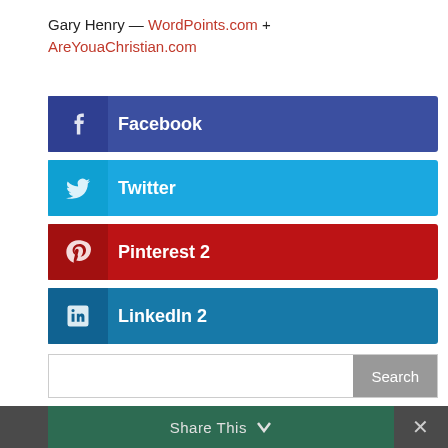Gary Henry — WordPoints.com + AreYouaChristian.com
[Figure (infographic): Social sharing buttons: Facebook, Twitter, Pinterest 2, LinkedIn 2]
[Figure (screenshot): Search bar with Search button]
Share This ∨  ✕